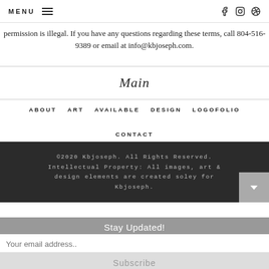MENU  f  [instagram]  [dribbble]
permission is illegal. If you have any questions regarding these terms, call 804-516-9389 or email at info@kbjoseph.com.
Main
ABOUT
ART
AVAILABLE
DESIGN
LOGOFOLIO
CONTACT
©2020 Kbjoseph. All Rights Reserved. Intellectual Property: All images, art & design elements are created soley for Kbjoseph.
Stay Updated!
Your email address..
Subscribe